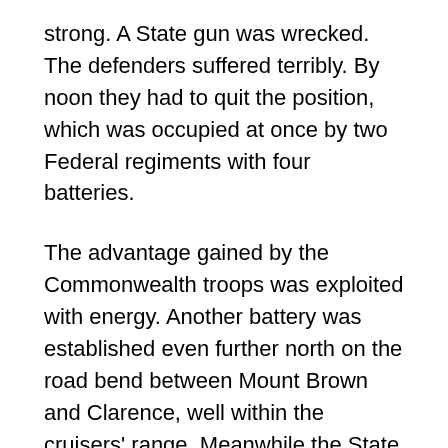strong. A State gun was wrecked. The defenders suffered terribly. By noon they had to quit the position, which was occupied at once by two Federal regiments with four batteries.
The advantage gained by the Commonwealth troops was exploited with energy. Another battery was established even further north on the road bend between Mount Brown and Clarence, well within the cruisers' range. Meanwhile the State army had retreated behind Clarence, which was burning fiercely. It was nearly three o'clock in the afternoon when a strong force of Federal volunteers rushed at them to complete their overthrow. But General Morthill was not beaten. Now that he had withdrawn his whole army beyond the cruisers' range, his resistance became desperate. Rush after rush was repulsed. And in the end, his front lines turned tables on